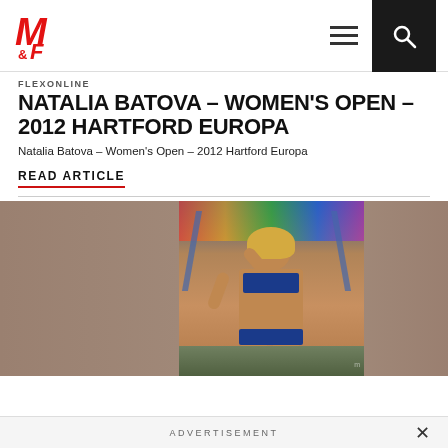M&F (Muscle & Fitness) logo header with hamburger menu and search button
FLEXONLINE
NATALIA BATOVA - WOMEN'S OPEN - 2012 HARTFORD EUROPA
Natalia Batova - Women's Open - 2012 Hartford Europa
READ ARTICLE
[Figure (photo): Natalia Batova posing on stage at the 2012 Hartford Europa Women's Open bodybuilding competition, wearing a dark blue bikini, with one arm raised, colorful backdrop visible behind her.]
ADVERTISEMENT